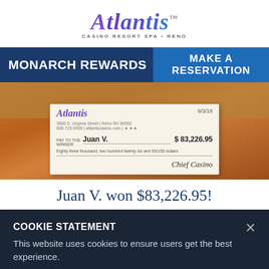[Figure (logo): Atlantis Casino Resort Spa • Reno logo with stylized script text]
MONARCH REWARDS
MAKE A RESERVATION
[Figure (photo): Man holding a large Atlantis casino check made out to Juan V. for $83,226.95 dated 9/3/18]
Juan V. won $83,226.95!
COOKIE STATEMENT
This website uses cookies to ensure users get the best experience.
Learn More
ACCEPT